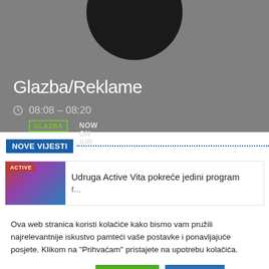[Figure (screenshot): Gray banner with dark circular shape at top (vinyl record), GLAZBA badge in green border, NOW ON AIR text]
Glazba/Reklame
⊙ 08:08 – 08:20
NOVE VIJESTI
[Figure (photo): News thumbnail showing ACTIVE label with people in background]
Udruga Active Vita pokreće jedini program f...
Ova web stranica koristi kolačiće kako bismo vam pružili najrelevantnije iskustvo pamteći vaše postavke i ponavljajuće posjete. Klikom na "Prihvaćam" pristajete na upotrebu kolačića.
Postavke Kolačića
PRIHVATI
ODBACI